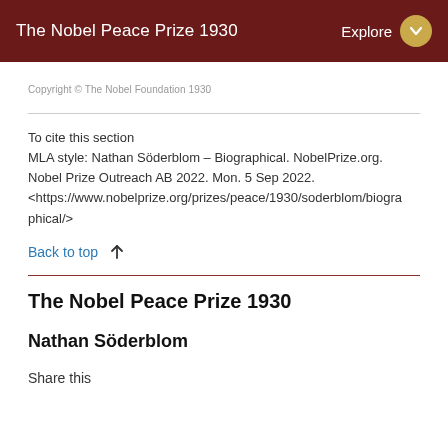The Nobel Peace Prize 1930   Explore
Copyright © The Nobel Foundation 1930
To cite this section
MLA style: Nathan Söderblom – Biographical. NobelPrize.org. Nobel Prize Outreach AB 2022. Mon. 5 Sep 2022. <https://www.nobelprize.org/prizes/peace/1930/soderblom/biographical/>
Back to top ↑
The Nobel Peace Prize 1930
Nathan Söderblom
Share this